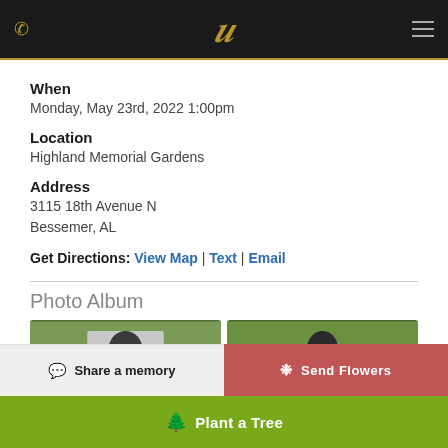C (funeral home logo header with phone and menu icons)
When
Monday, May 23rd, 2022 1:00pm
Location
Highland Memorial Gardens
Address
3115 18th Avenue N
Bessemer, AL
Get Directions: View Map | Text | Email
Photo Album
[Figure (photo): Two photo thumbnails in a photo album strip showing outdoor scenes with people]
Share a memory
Send Flowers
Plant a Tree